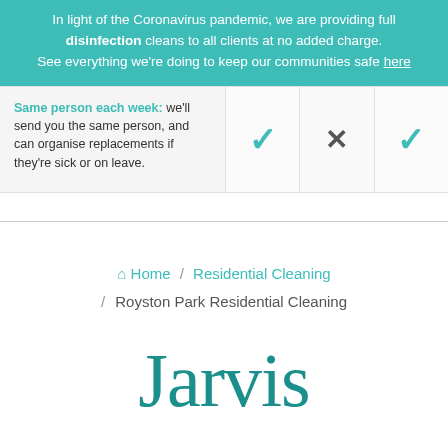In light of the Coronavirus pandemic, we are providing full disinfection cleans to all clients at no added charge. See everything we're doing to keep our communities safe here
Same person each week: we'll send you the same person, and can organise replacements if they're sick or on leave.
✓ ✗ ✓
Home / Residential Cleaning / Royston Park Residential Cleaning
Jarvis